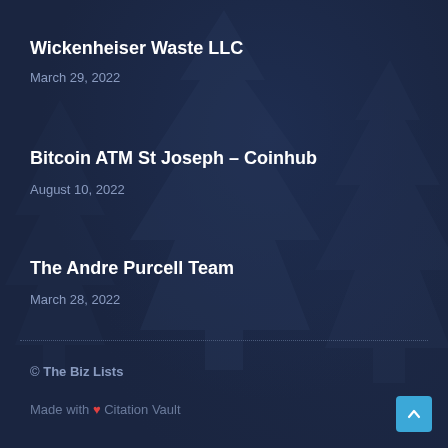Wickenheiser Waste LLC
March 29, 2022
Bitcoin ATM St Joseph – Coinhub
August 10, 2022
The Andre Purcell Team
March 28, 2022
© The Biz Lists
Made with ❤ Citation Vault